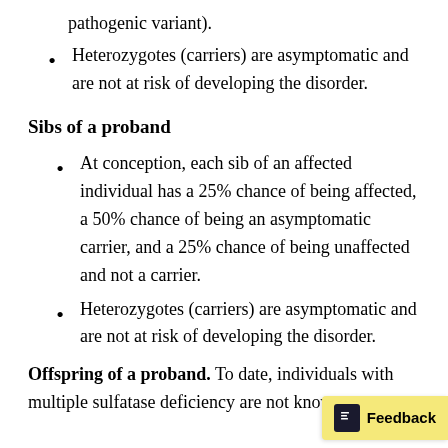pathogenic variant).
Heterozygotes (carriers) are asymptomatic and are not at risk of developing the disorder.
Sibs of a proband
At conception, each sib of an affected individual has a 25% chance of being affected, a 50% chance of being an asymptomatic carrier, and a 25% chance of being unaffected and not a carrier.
Heterozygotes (carriers) are asymptomatic and are not at risk of developing the disorder.
Offspring of a proband. To date, individuals with multiple sulfatase deficiency are not know